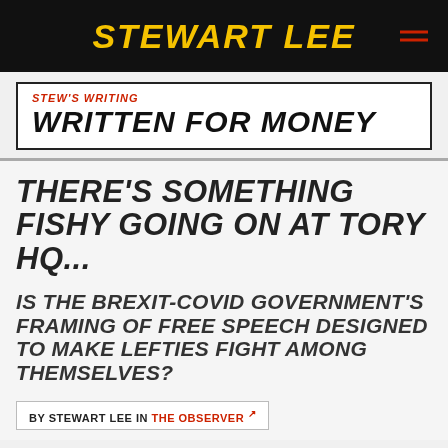STEWART LEE
STEW'S WRITING
WRITTEN FOR MONEY
THERE'S SOMETHING FISHY GOING ON AT TORY HQ...
IS THE BREXIT-COVID GOVERNMENT'S FRAMING OF FREE SPEECH DESIGNED TO MAKE LEFTIES FIGHT AMONG THEMSELVES?
BY STEWART LEE IN THE OBSERVER